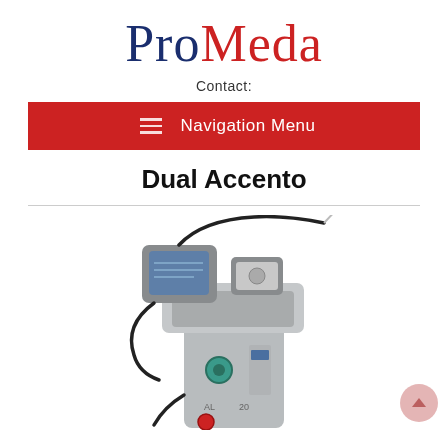ProMeda
Contact:
Navigation Menu
Dual Accento
[Figure (photo): Medical device - Dual Accento laser/ultrasound unit, gray colored machine on wheels with dual monitor displays and cables attached, shown from a 3/4 angle view.]
[Figure (other): Scroll-to-top button, circular pink/rose colored button with upward arrow, positioned at lower right]